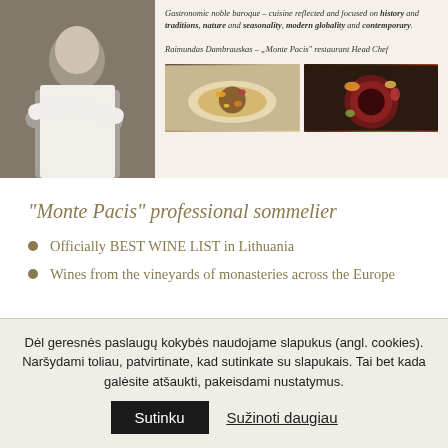[Figure (photo): Chef in white uniform with arms crossed, plus two food dish photos, with italic quote about Gastronomic noble baroque cuisine and chef caption]
Gastronomic noble baroque – cuisine reflected and focused on history and traditions, nature and seasonality, modern globality and contemporary.
Raimundas Dambrauskas – "Monte Pacis" restaurant Head Chef
“Monte Pacis” professional sommelier
Officially BEST WINE LIST in Lithuania
Wines from the vineyards of monasteries across the Europe
Dėl geres nės paslaugų kokybės naudojame slapukus (angl. cookies). Naršydami toliau, patvirtinate, kad sutinkate su slapukais. Tai bet kada galėsite atšaukti, pakeisdami nustatymus.